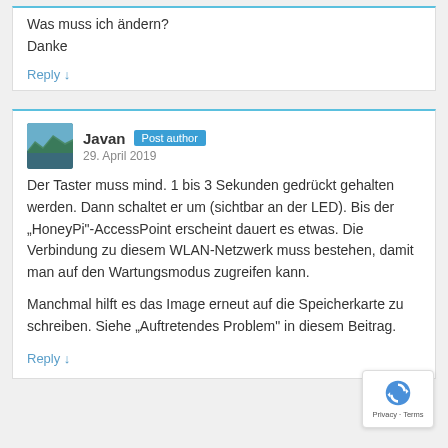Was muss ich ändern?
Danke
Reply ↓
Javan
Post author
29. April 2019
Der Taster muss mind. 1 bis 3 Sekunden gedrückt gehalten werden. Dann schaltet er um (sichtbar an der LED). Bis der "HoneyPi"-AccessPoint erscheint dauert es etwas. Die Verbindung zu diesem WLAN-Netzwerk muss bestehen, damit man auf den Wartungsmodus zugreifen kann.
Manchmal hilft es das Image erneut auf die Speicherkarte zu schreiben. Siehe "Auftretendes Problem" in diesem Beitrag.
Reply ↓